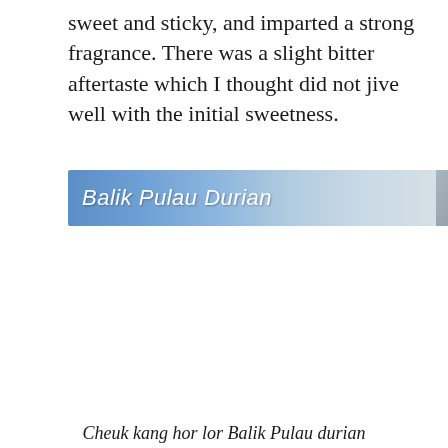sweet and sticky, and imparted a strong fragrance. There was a slight bitter aftertaste which I thought did not jive well with the initial sweetness.
[Figure (photo): A banner image with a blue gradient background showing the text 'Balik Pulau Durian' in white italic/cursive font, with a dark corner element on the right side.]
Cheuk kang hor lor Balik Pulau durian